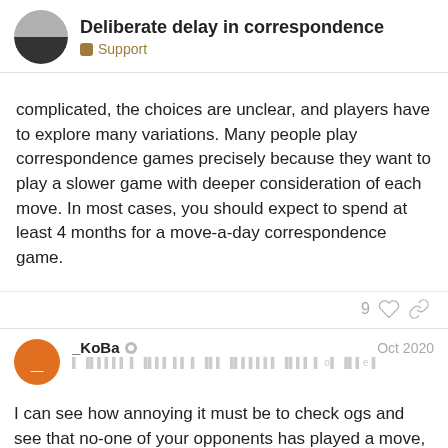Deliberate delay in correspondence — Support
complicated, the choices are unclear, and players have to explore many variations. Many people play correspondence games precisely because they want to play a slower game with deeper consideration of each move. In most cases, you should expect to spend at least 4 months for a move-a-day correspondence game.
9 ♡ 🔗
_KoBa  Oct 2020
I can see how annoying it must be to check ogs and see that no-one of your opponents has played a move, correspondence go is kinda pointless if you're not in a situation where you always have moves to play and positions to think of. What i recommend is to have more than just 3 co… you will always have moves to play and yo…
6 / 11